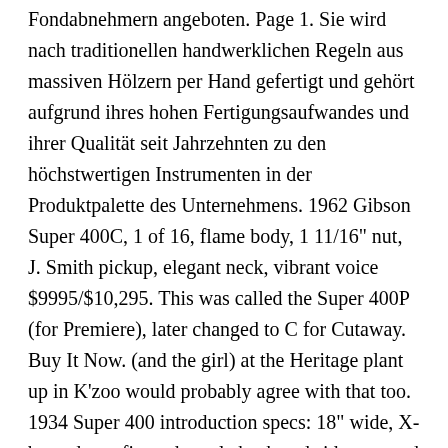Fondabnehmern angeboten. Page 1. Sie wird nach traditionellen handwerklichen Regeln aus massiven Hölzern per Hand gefertigt und gehört aufgrund ihres hohen Fertigungsaufwandes und ihrer Qualität seit Jahrzehnten zu den höchstwertigen Instrumenten in der Produktpalette des Unternehmens. 1962 Gibson Super 400C, 1 of 16, flame body, 1 11/16" nut, J. Smith pickup, elegant neck, vibrant voice $9995/$10,295. This was called the Super 400P (for Premiere), later changed to C for Cutaway. Buy It Now. (and the girl) at the Heritage plant up in K'zoo would probably agree with that too. 1934 Super 400 introduction specs: 18" wide, X-braced top, figured maple back and sides, … and I can't quite convince myself that this top was made by Gibson. This guitar was made one year later than the Super 400 CES played by Scotty Moore. The story we were told is that the original owner was a small man so he sent the guitar back to the factory to be fitted with the smaller Byrdland neck. Vintage-Instrumente dieses Modells sind bei Profimusikern wie bei Sammlern sehr gesucht und erzielen hohe Preise. Gibson Super 400 Owners has 706